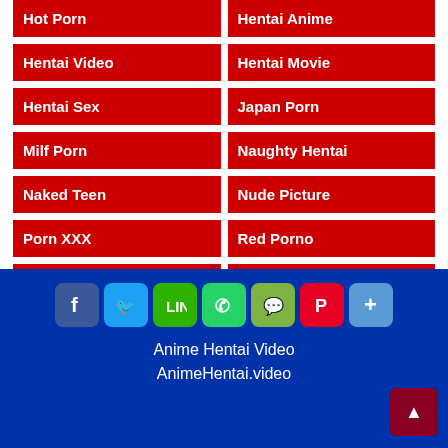Hot Porn
Hentai Anime
Hentai Video
Hentai Movie
Hentai Sex
Japan Porn
Milf Porn
Naughty Hentai
Naked Teen
Nude Picture
Porn XXX
Red Porno
Sex Tube
Teen Porn
Vintage Porn
Video XXX
Watch Anime
Watch Hentai
Anime Hentai Video
AnimeHentai.video